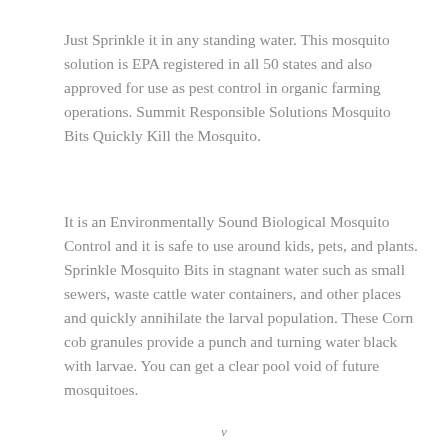Just Sprinkle it in any standing water. This mosquito solution is EPA registered in all 50 states and also approved for use as pest control in organic farming operations. Summit Responsible Solutions Mosquito Bits Quickly Kill the Mosquito.
It is an Environmentally Sound Biological Mosquito Control and it is safe to use around kids, pets, and plants. Sprinkle Mosquito Bits in stagnant water such as small sewers, waste cattle water containers, and other places and quickly annihilate the larval population. These Corn cob granules provide a punch and turning water black with larvae. You can get a clear pool void of future mosquitoes.
v